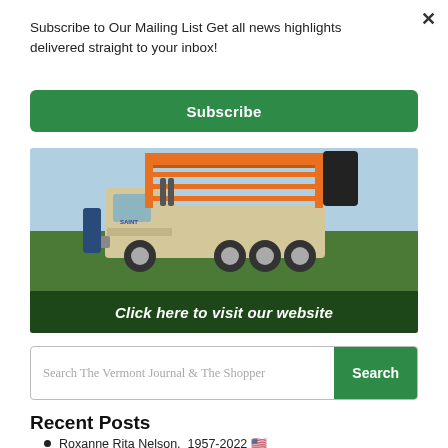Subscribe to Our Mailing List Get all news highlights delivered straight to your inbox!
Subscribe
[Figure (photo): A large drilling rig truck with orange equipment mounted on a beige/cream colored truck body, parked on green grass against a blue sky. Text overlay reads 'Click here to visit our website'.]
Search The Vermont Journal & The Shopper
Search
Recent Posts
Roxanne Rita Nelson, 1957-2022 🇺🇸
Springfield Rotary Club Butterfly Release Fundraiser